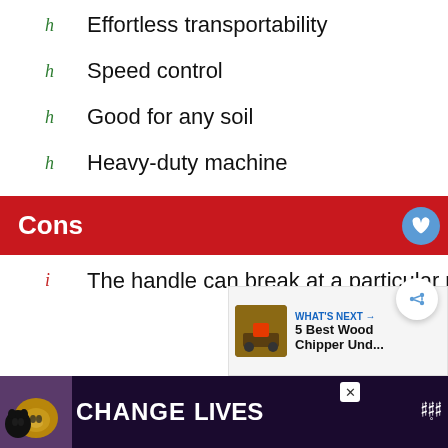Effortless transportability
Speed control
Good for any soil
Heavy-duty machine
Cons
The handle can break at a particular poi...
[Figure (other): WHAT'S NEXT promotional panel showing wood chipper thumbnail and text '5 Best Wood Chipper Und...']
[Figure (other): Advertisement banner: CHANGE LIVES with cat imagery]